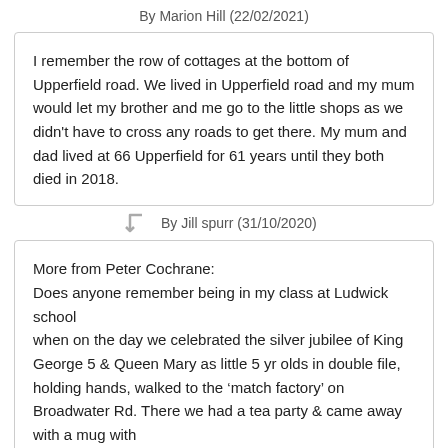By Marion Hill (22/02/2021)
I remember the row of cottages at the bottom of Upperfield road. We lived in Upperfield road and my mum would let my brother and me go to the little shops as we didn't have to cross any roads to get there. My mum and dad lived at 66 Upperfield for 61 years until they both died in 2018.
By Jill spurr (31/10/2020)
More from Peter Cochrane:
Does anyone remember being in my class at Ludwick school
when on the day we celebrated the silver jubilee of King George 5 & Queen Mary as little 5 yr olds in double file, holding hands, walked to the 'match factory' on Broadwater Rd. There we had a tea party & came away with a mug with